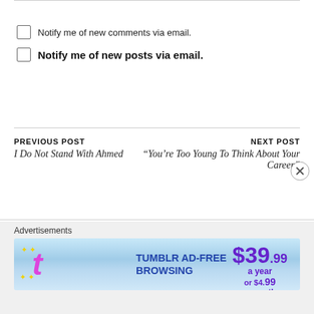Notify me of new comments via email.
Notify me of new posts via email.
PREVIOUS POST
I Do Not Stand With Ahmed
NEXT POST
“You’re Too Young To Think About Your Career”
Advertisements
[Figure (other): Tumblr Ad-Free Browsing advertisement banner showing $39.99 a year or $4.99 a month pricing]